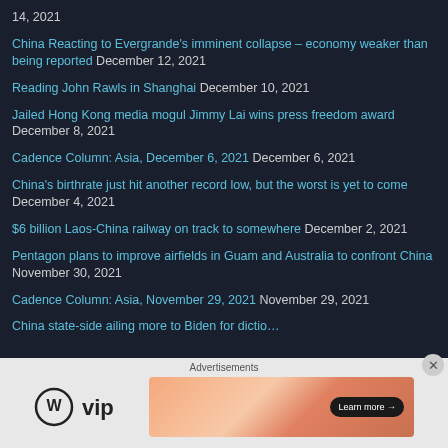14, 2021
China Reacting to Evergrande's imminent collapse – economy weaker than being reported December 12, 2021
Reading John Rawls in Shanghai December 10, 2021
Jailed Hong Kong media mogul Jimmy Lai wins press freedom award December 8, 2021
Cadence Column: Asia, December 6, 2021 December 6, 2021
China's birthrate just hit another record low, but the worst is yet to come December 4, 2021
$6 billion Laos-China railway on track to somewhere December 2, 2021
Pentagon plans to improve airfields in Guam and Australia to confront China November 30, 2021
Cadence Column: Asia, November 29, 2021 November 29, 2021
China state-sideailing more to Biden for dictio…
Advertisements
[Figure (other): WordPress VIP logo and advertisement banner with 'Learn more' button]